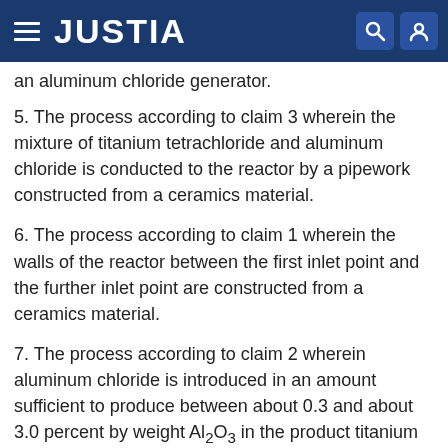JUSTIA
an aluminum chloride generator.
5. The process according to claim 3 wherein the mixture of titanium tetrachloride and aluminum chloride is conducted to the reactor by a pipework constructed from a ceramics material.
6. The process according to claim 1 wherein the walls of the reactor between the first inlet point and the further inlet point are constructed from a ceramics material.
7. The process according to claim 2 wherein aluminum chloride is introduced in an amount sufficient to produce between about 0.3 and about 3.0 percent by weight Al2O3 in the product titanium dioxide.
8. The process according to claim 7 wherein the amount of aluminum chloride is sufficient to produce from